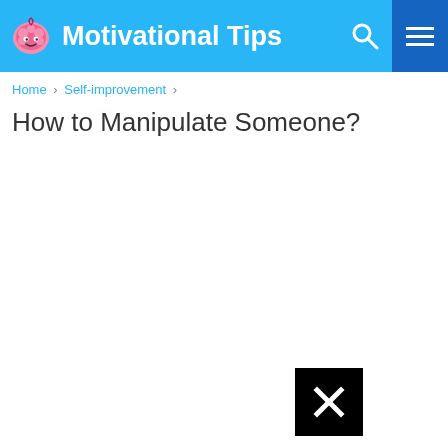Motivational Tips
Home › Self-improvement ›
How to Manipulate Someone?
[Figure (other): Black close/dismiss button with white X symbol]